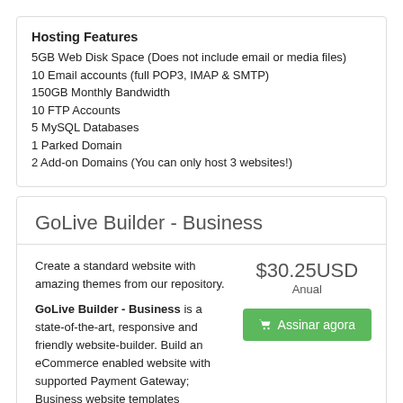Hosting Features
5GB Web Disk Space (Does not include email or media files)
10 Email accounts (full POP3, IMAP & SMTP)
150GB Monthly Bandwidth
10 FTP Accounts
5 MySQL Databases
1 Parked Domain
2 Add-on Domains (You can only host 3 websites!)
GoLive Builder - Business
Create a standard website with amazing themes from our repository.
$30.25USD
Anual
Assinar agora
GoLive Builder - Business is a state-of-the-art, responsive and friendly website-builder. Build an eCommerce enabled website with supported Payment Gateway; Business website templates